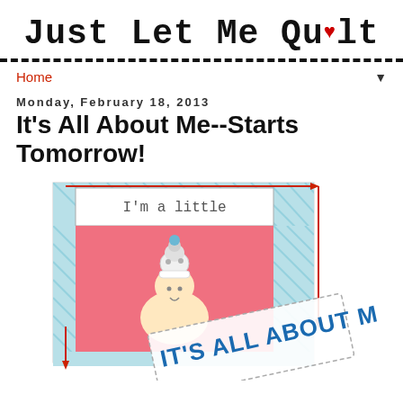Just Let Me Quilt
Home
Monday, February 18, 2013
It's All About Me--Starts Tomorrow!
[Figure (illustration): Illustration of a quilt block design labeled 'I'm a little' with a cartoon character (poodle on head) and a diagonal banner reading 'IT'S ALL ABOUT ME', with dashed-line borders and arrows indicating quilt dimensions.]